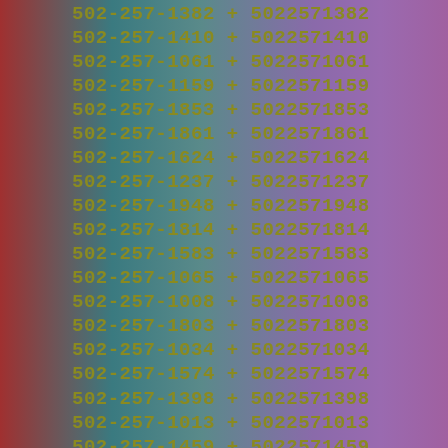502-257-1382 + 5022571382
502-257-1410 + 5022571410
502-257-1061 + 5022571061
502-257-1159 + 5022571159
502-257-1853 + 5022571853
502-257-1861 + 5022571861
502-257-1624 + 5022571624
502-257-1237 + 5022571237
502-257-1948 + 5022571948
502-257-1814 + 5022571814
502-257-1583 + 5022571583
502-257-1065 + 5022571065
502-257-1008 + 5022571008
502-257-1803 + 5022571803
502-257-1034 + 5022571034
502-257-1574 + 5022571574
502-257-1398 + 5022571398
502-257-1013 + 5022571013
502-257-1459 + 5022571459
502-257-1887 + 5022571887
502-257-1912 + 5022571912
502-257-1254 + 5022571254
502-257-1353 + 5022571353